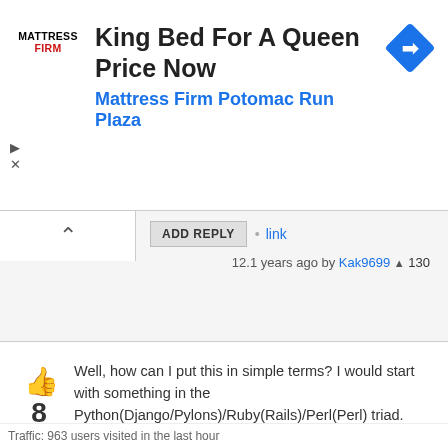[Figure (screenshot): Mattress Firm advertisement banner: logo on left, headline 'King Bed For A Queen Price Now', subheading 'Mattress Firm Potomac Run Plaza', navigation arrow icon on right]
ADD REPLY • link
12.1 years ago by Kak9699 ▲ 130
Well, how can I put this in simple terms? I would start with something in the Python(Django/Pylons)/Ruby(Rails)/Perl(Perl) triad. These tree are faster (maybe not Perl) and more secure than PHP and generate - let's call it - more modern sites. I understand that maybe Django and Rails are not purely devoted to scientific applications, but if you are looking to something more powerful and faster to program I would go to:

Django (or Pylons, my preferred) with Python and BioPython
Traffic: 963 users visited in the last hour